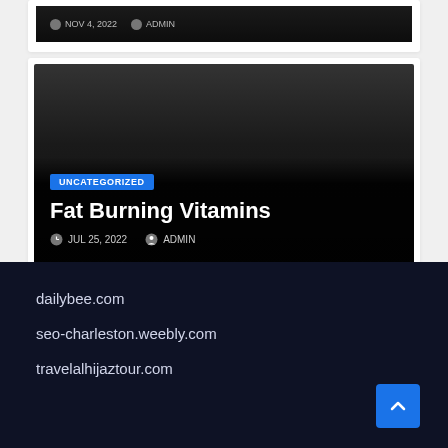[Figure (screenshot): Dark card with date/admin meta at top, partially visible at top of page]
[Figure (screenshot): Blog post card with dark background, category badge UNCATEGORIZED, title Fat Burning Vitamins, date JUL 25 2022, author ADMIN]
UNCATEGORIZED
Fat Burning Vitamins
JUL 25, 2022   ADMIN
dailybee.com
seo-charleston.weebly.com
travelalhijaztour.com